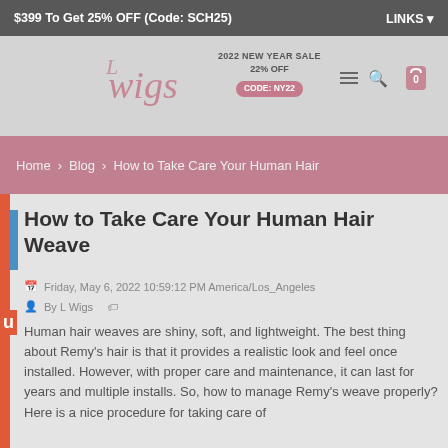$399 To Get 25% OFF (Code: SCH25)   LINKS
[Figure (logo): L Wigs cursive logo in pink/mauve color]
2022 NEW YEAR SALE 22% OFF CODE: NY22
Home > Blog > How to Take Care Your Human Hair
How to Take Care Your Human Hair Weave
Friday, May 6, 2022 10:59:12 PM America/Los_Angeles
By L Wigs
Human hair weaves are shiny, soft, and lightweight. The best thing about Remy's hair is that it provides a realistic look and feel once installed. However, with proper care and maintenance, it can last for years and multiple installs. So, how to manage Remy's weave properly? Here is a nice procedure for taking care of